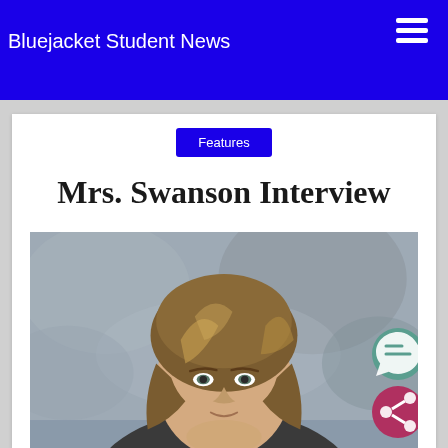Bluejacket Student News
Features
Mrs. Swanson Interview
[Figure (photo): Portrait photo of Mrs. Swanson, a woman with medium-length blonde/brown highlighted hair, against a grey mottled studio background.]